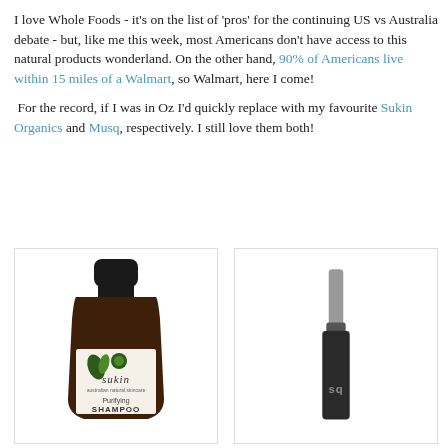I love Whole Foods - it's on the list of 'pros' for the continuing US vs Australia debate - but, like me this week, most Americans don't have access to this natural products wonderland. On the other hand, 90% of Americans live within 15 miles of a Walmart, so Walmart, here I come!

 For the record, if I was in Oz I'd quickly replace with my favourite Sukin Organics and Musq, respectively. I still love them both!
[Figure (photo): Sukin Purifying Shampoo bottle - dark brown bottle with cream label showing Sukin brand name, leaf logo, and text 'Purifying SHAMPOO']
[Figure (photo): Musq product - black mascara wand/tube with grey cap, showing 'sq' text on the black tube body]